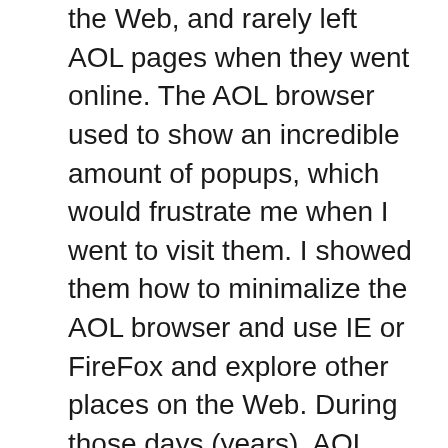the Web, and rarely left AOL pages when they went online. The AOL browser used to show an incredible amount of popups, which would frustrate me when I went to visit them. I showed them how to minimalize the AOL browser and use IE or FireFox and explore other places on the Web. During those days (years), AOL was pretty much the whole web for them, so I understand the concern.
No problem on the typos – I know how frustrating it is to submit a comment and not be able to go back and edit them. 🙂